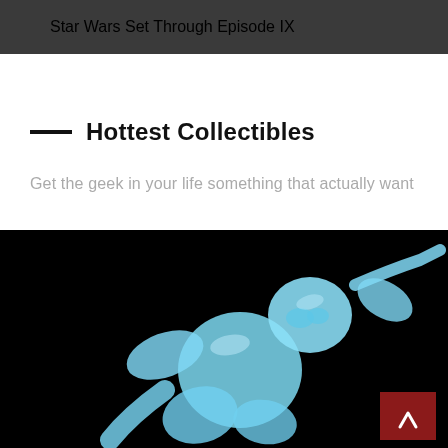Star Wars Set Through Episode IX
Hottest Collectibles
Get the geek in your life something that actually want
[Figure (photo): A blue translucent action figure collectible (appears to be a superhero like Spider-Man) photographed against a black background, in a dynamic crouching pose. A red back-to-top button with a caret/chevron icon is visible in the bottom-right corner of the image.]